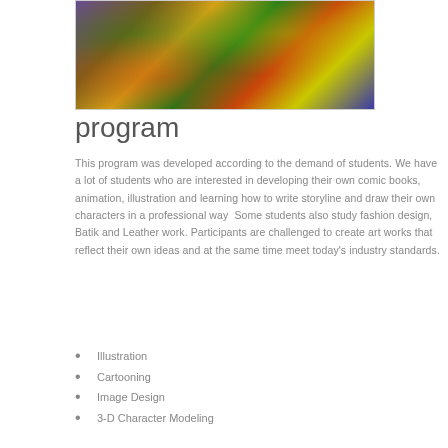[Figure (photo): Child's hands working on an art project with colorful paints and materials on a purple surface]
program
This program was developed according to the demand of students. We have a lot of students who are interested in developing their own comic books, animation, illustration and learning how to write storyline and draw their own characters in a professional way  Some students also study fashion design, Batik and Leather work. Participants are challenged to create art works that reflect their own ideas and at the same time meet today's industry standards.
Illustration
Cartooning
Image Design
3-D Character Modeling